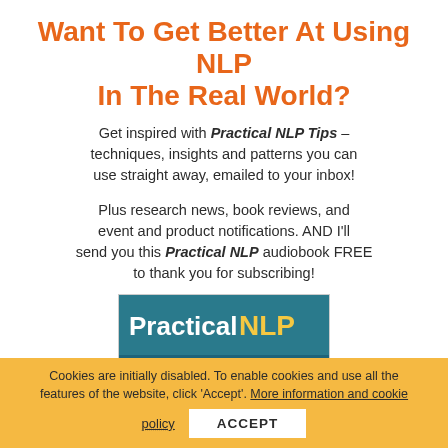Want To Get Better At Using NLP In The Real World?
Get inspired with Practical NLP Tips – techniques, insights and patterns you can use straight away, emailed to your inbox!
Plus research news, book reviews, and event and product notifications. AND I'll send you this Practical NLP audiobook FREE to thank you for subscribing!
[Figure (illustration): Book cover showing 'Practical NLP' title with white and yellow text on a teal/blue background with a surfer image]
Cookies are initially disabled. To enable cookies and use all the features of the website, click 'Accept'. More information and cookie policy ACCEPT